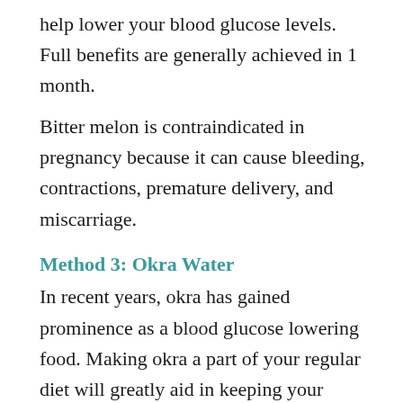help lower your blood glucose levels. Full benefits are generally achieved in 1 month.
Bitter melon is contraindicated in pregnancy because it can cause bleeding, contractions, premature delivery, and miscarriage.
Method 3: Okra Water
In recent years, okra has gained prominence as a blood glucose lowering food. Making okra a part of your regular diet will greatly aid in keeping your diabetes under control